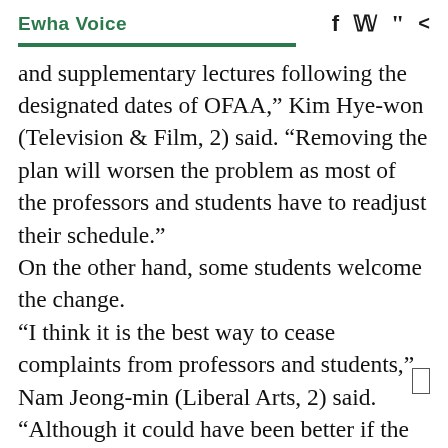Ewha Voice
and supplementary lectures following the designated dates of OFAA," Kim Hye-won (Television & Film, 2) said. "Removing the plan will worsen the problem as most of the professors and students have to readjust their schedule."
On the other hand, some students welcome the change.
"I think it is the best way to cease complaints from professors and students," Nam Jeong-min (Liberal Arts, 2) said. "Although it could have been better if the school predicted such disorder, it is the most suitable choice to